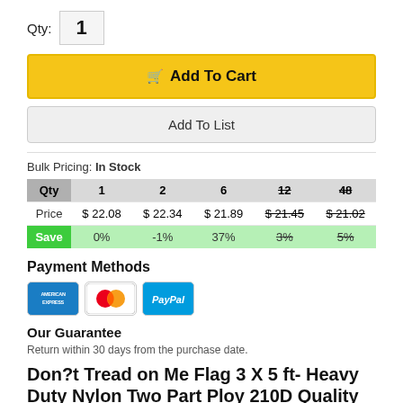Qty: 1
Add To Cart
Add To List
Bulk Pricing: In Stock
| Qty | 1 | 2 | 6 | 12 | 48 |
| --- | --- | --- | --- | --- | --- |
| Price | $ 22.08 | $ 22.34 | $ 21.89 | $ 21.45 | $ 21.02 |
| Save | 0% | -1% | 37% | 3% | 5% |
Payment Methods
[Figure (logo): Payment method logos: American Express, MasterCard, PayPal]
Our Guarantee
Return within 30 days from the purchase date.
Don?t Tread on Me Flag 3 X 5 ft- Heavy Duty Nylon Two Part Ploy 210D Quality Oxford